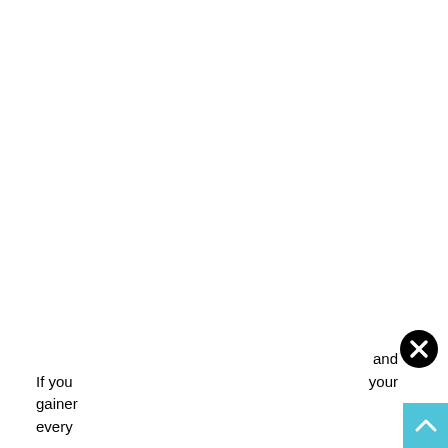[Figure (other): A circular close/dismiss button icon with a black circle and white X symbol, positioned in the lower right area of the page]
If you   and gained   your every
[Figure (other): A scroll-to-top button with a light blue background and white upward chevron arrow]